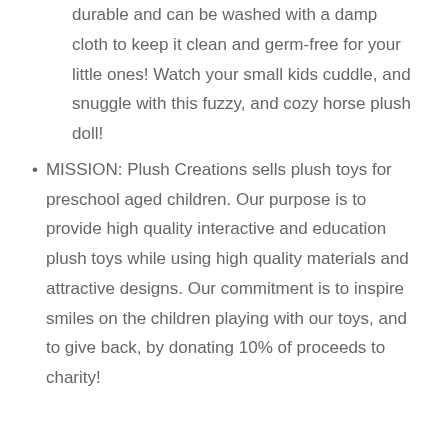durable and can be washed with a damp cloth to keep it clean and germ-free for your little ones! Watch your small kids cuddle, and snuggle with this fuzzy, and cozy horse plush doll!
MISSION: Plush Creations sells plush toys for preschool aged children. Our purpose is to provide high quality interactive and education plush toys while using high quality materials and attractive designs. Our commitment is to inspire smiles on the children playing with our toys, and to give back, by donating 10% of proceeds to charity!